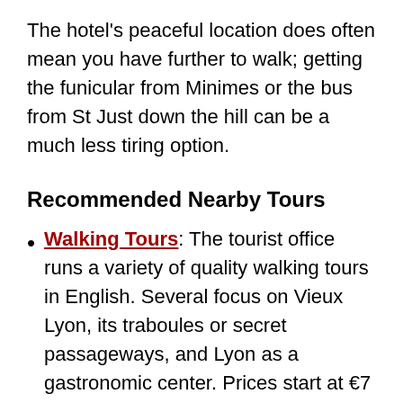The hotel's peaceful location does often mean you have further to walk; getting the funicular from Minimes or the bus from St Just down the hill can be a much less tiring option.
Recommended Nearby Tours
Walking Tours: The tourist office runs a variety of quality walking tours in English. Several focus on Vieux Lyon, its traboules or secret passageways, and Lyon as a gastronomic center. Prices start at €7 for a 1-hour tour and go up to €70 for a 4-hour